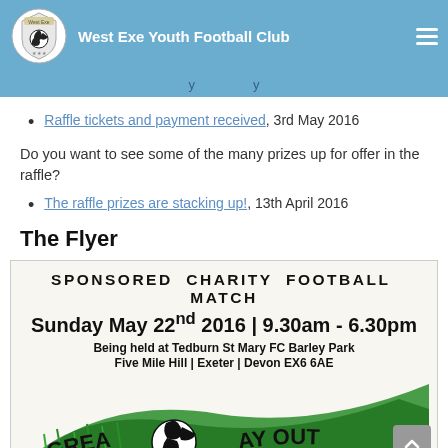West Exe Youth Football Club
Raffle tickets and payment received, 3rd May 2016
Do you want to see some of the many prizes up for offer in the raffle?
The raffle prizes are stacking up!, 13th April 2016
The Flyer
[Figure (infographic): Flyer for Sponsored Charity Football Match on Sunday May 22nd 2016, 9.30am - 6.30pm, Being held at Tedburn St Mary FC Barley Park, Five Mile Hill | Exeter | Devon EX6 6AE. Bottom portion shows a football and green grass design with curved text 'A GREAT DAY OUT'.]